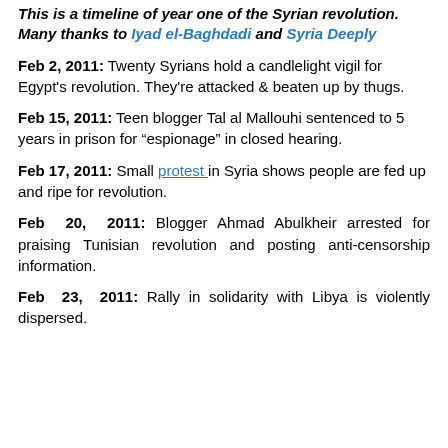This is a timeline of year one of the Syrian revolution. Many thanks to Iyad el-Baghdadi and Syria Deeply
Feb 2, 2011: Twenty Syrians hold a candlelight vigil for Egypt's revolution. They're attacked & beaten up by thugs.
Feb 15, 2011: Teen blogger Tal al Mallouhi sentenced to 5 years in prison for “espionage” in closed hearing.
Feb 17, 2011: Small protest in Syria shows people are fed up and ripe for revolution.
Feb 20, 2011: Blogger Ahmad Abulkheir arrested for praising Tunisian revolution and posting anti-censorship information.
Feb 23, 2011: Rally in solidarity with Libya is violently dispersed.